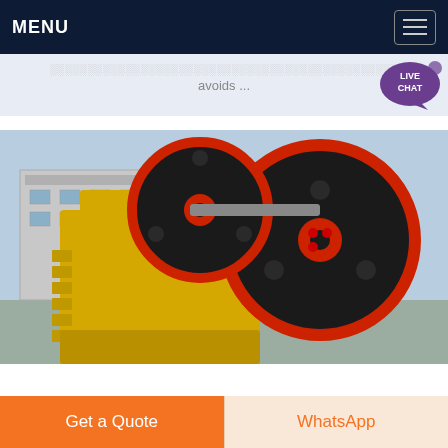MENU
avoids ...
[Figure (photo): Yellow jaw crusher machine with large black and red flywheel, photographed outdoors in an industrial yard with a building in the background]
Get a Quote
WhatsApp